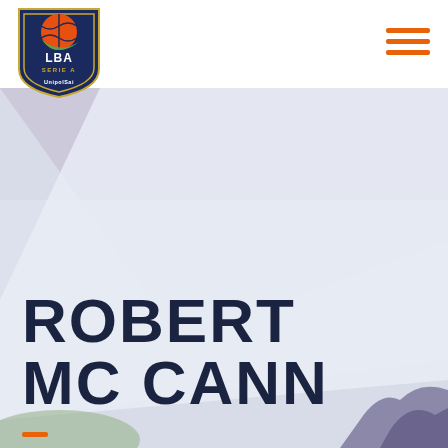[Figure (logo): LBA Serie A UnipolSai basketball league shield logo with orange basketball graphic]
[Figure (illustration): Decorative background with lavender/purple triangular shape in upper portion, light gray-blue misty landscape with silhouettes in lower right, and green accent in lower left]
ROBERT MC CANN